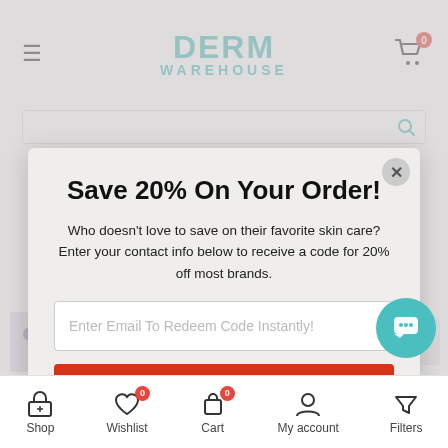DERM WAREHOUSE
[Figure (screenshot): Modal popup overlay on Derm Warehouse website with discount offer]
Save 20% On Your Order!
Who doesn't love to save on their favorite skin care? Enter your contact info below to receive a code for 20% off most brands.
Enter Email To Redeem Code Instantly!
Activate Discount
Shop  Wishlist  Cart  My account  Filters